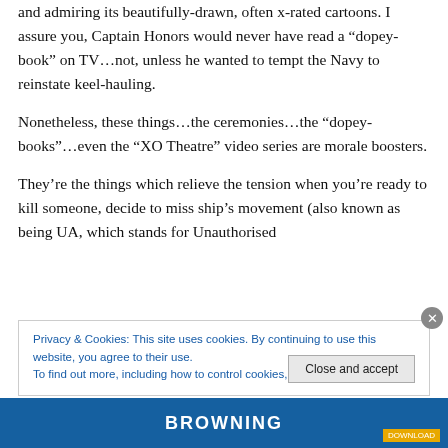and admiring its beautifully-drawn, often x-rated cartoons. I assure you, Captain Honors would never have read a “dopey-book” on TV…not, unless he wanted to tempt the Navy to reinstate keel-hauling.
Nonetheless, these things…the ceremonies…the “dopey-books”…even the “XO Theatre” video series are morale boosters.
They’re the things which relieve the tension when you’re ready to kill someone, decide to miss ship’s movement (also known as being UA, which stands for Unauthorised
Privacy & Cookies: This site uses cookies. By continuing to use this website, you agree to their use.
To find out more, including how to control cookies, see here: Cookie Policy
Close and accept